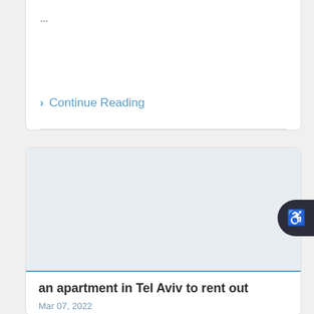...
› Continue Reading
[Figure (photo): Blank/placeholder image area for article listing]
an apartment in Tel Aviv to rent out
Mar 07, 2022
This beautiful apartment in Kerem Hateimanim is located jus...